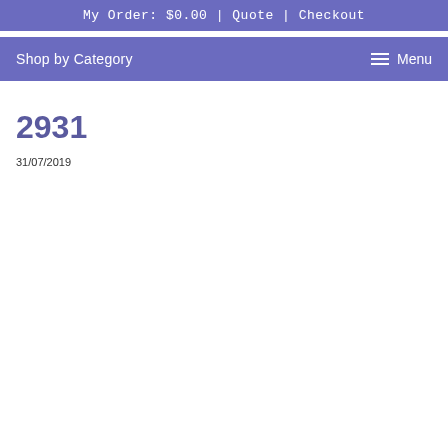My Order: $0.00 | Quote | Checkout
Shop by Category   Menu
2931
31/07/2019